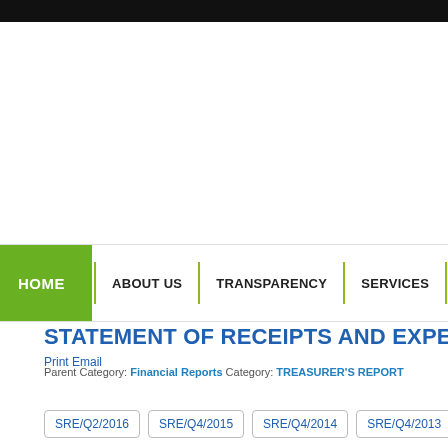STATEMENT OF RECEIPTS AND EXPEND...
Print Email
Parent Category: Financial Reports Category: TREASURER'S REPORT
SRE/Q2/2016
SRE/Q4/2015
SRE/Q4/2014
SRE/Q4/2013